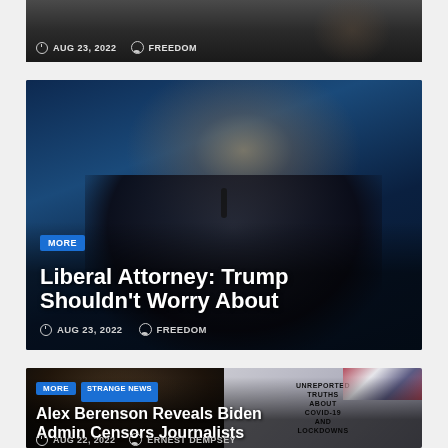[Figure (photo): Partial news card at top showing dark background image with date and author metadata]
AUG 23, 2022   FREEDOM
[Figure (photo): News card featuring a man in a suit at a microphone against a blue background]
MORE
Liberal Attorney: Trump Shouldn't Worry About
AUG 23, 2022   FREEDOM
[Figure (photo): News card with man on left half and book cover 'Unreported Truths About COVID-19 and Lockdowns' on right half]
MORE   STRANGE NEWS
Alex Berenson Reveals Biden Admin Censors Journalists
AUG 22, 2022   ERNEST DEMPSEY